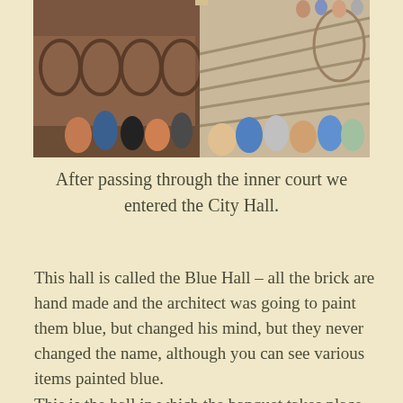[Figure (photo): Interior photo of Stockholm City Hall's Blue Hall showing brick arched walls, a grand staircase on the right, and crowds of tourists walking through the space.]
After passing through the inner court we entered the City Hall.
This hall is called the Blue Hall – all the brick are hand made and the architect was going to paint them blue, but changed his mind, but they never changed the name, although you can see various items painted blue.
This is the hall in which the banquet takes place for the Nobel Prize winners.